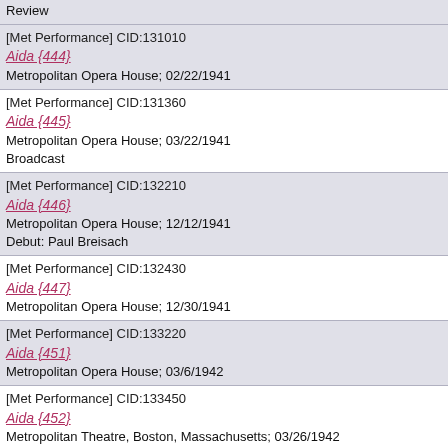[Met Performance] CID:131010
Aida {444}
Metropolitan Opera House; 02/22/1941
[Met Performance] CID:131360
Aida {445}
Metropolitan Opera House; 03/22/1941
Broadcast
[Met Performance] CID:132210
Aida {446}
Metropolitan Opera House; 12/12/1941
Debut: Paul Breisach
[Met Performance] CID:132430
Aida {447}
Metropolitan Opera House; 12/30/1941
[Met Performance] CID:133220
Aida {451}
Metropolitan Opera House; 03/6/1942
[Met Performance] CID:133450
Aida {452}
Metropolitan Theatre, Boston, Massachusetts; 03/26/1942
Review
[Met Performance] CID:133590
Aida {454}
Indiana University Auditorium, Bloomington, Indiana; 04/13/1942
Review
[Met Performance] CID:133630
Aida {455}
Dallas, Texas; 04/18/1942